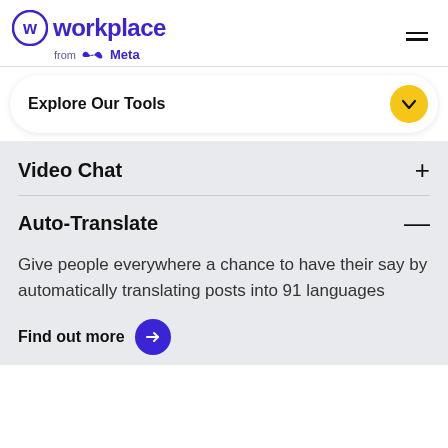Workplace from Meta
Explore Our Tools
Video Chat
Auto-Translate
Give people everywhere a chance to have their say by automatically translating posts into 91 languages
Find out more